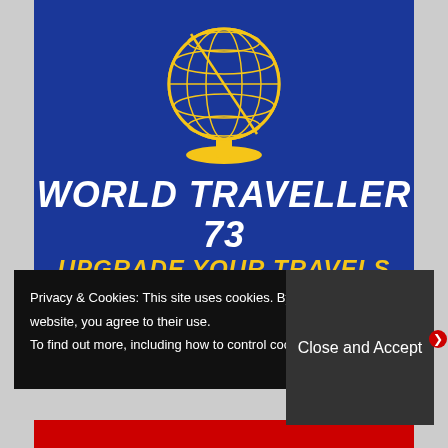[Figure (illustration): Golden globe on a stand icon against a dark blue background, with the text 'WORLD TRAVELLER 73' and 'UPGRADE YOUR TRAVELS' below it in italic white and yellow text]
WORLD TRAVELLER 73
UPGRADE YOUR TRAVELS
Privacy & Cookies: This site uses cookies. By continuing to use this website, you agree to their use. To find out more, including how to control cookies,
Close and Accept